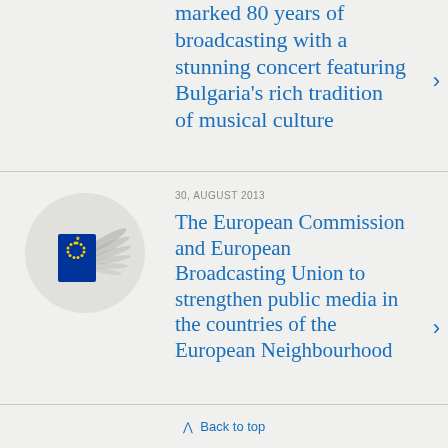marked 80 years of broadcasting with a stunning concert featuring Bulgaria's rich tradition of musical culture
30, AUGUST 2013
[Figure (logo): European Commission logo/emblem — circular grey background with EU flag stars on blue shield and decorative wings]
The European Commission and European Broadcasting Union to strengthen public media in the countries of the European Neighbourhood
Back to top